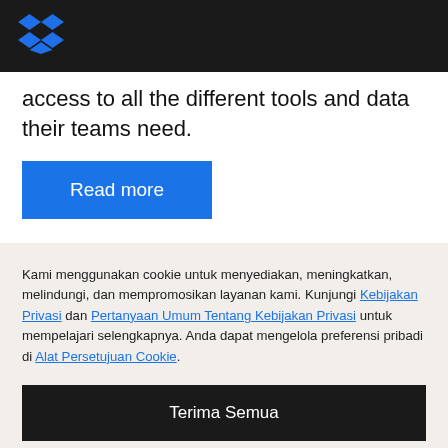[Figure (logo): Dropbox blue diamond logo on black header bar]
access to all the different tools and data their teams need.
Read more
Kami menggunakan cookie untuk menyediakan, meningkatkan, melindungi, dan mempromosikan layanan kami. Kunjungi Kebijakan Privasi dan Pertanyaan Umum Tentang Kebijakan Privasi untuk mempelajari selengkapnya. Anda dapat mengelola preferensi pribadi di Alat Persetujuan Cookie.
Terima Semua
Tolak